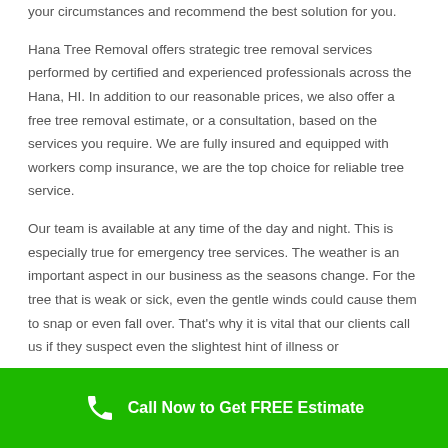your circumstances and recommend the best solution for you.

Hana Tree Removal offers strategic tree removal services performed by certified and experienced professionals across the Hana, HI. In addition to our reasonable prices, we also offer a free tree removal estimate, or a consultation, based on the services you require. We are fully insured and equipped with workers comp insurance, we are the top choice for reliable tree service.

Our team is available at any time of the day and night. This is especially true for emergency tree services. The weather is an important aspect in our business as the seasons change. For the tree that is weak or sick, even the gentle winds could cause them to snap or even fall over. That's why it is vital that our clients call us if they suspect even the slightest hint of illness or
Call Now to Get FREE Estimate